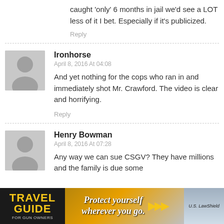caught ‘only’ 6 months in jail we’d see a LOT less of it I bet. Especially if it’s publicized.
Reply
Ironhorse
April 8, 2016 At 04:08
And yet nothing for the cops who ran in and immediately shot Mr. Crawford. The video is clear and horrifying.
Reply
Henry Bowman
April 8, 2016 At 07:28
Any way we can sue CSGV? They have millions and the family is due some
[Figure (screenshot): Travel Guide for Gun Owners advertisement banner with text 'Protect yourself wherever you go.' and US LawShield branding]